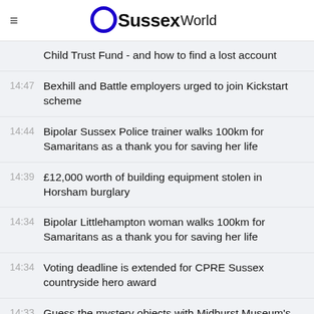Sussex World
Child Trust Fund - and how to find a lost account
14:47 Bexhill and Battle employers urged to join Kickstart scheme
14:44 Bipolar Sussex Police trainer walks 100km for Samaritans as a thank you for saving her life
14:39 £12,000 worth of building equipment stolen in Horsham burglary
14:34 Bipolar Littlehampton woman walks 100km for Samaritans as a thank you for saving her life
14:34 Voting deadline is extended for CPRE Sussex countryside hero award
14:33 Guess the mystery objects with Midhurst Museum's quiz